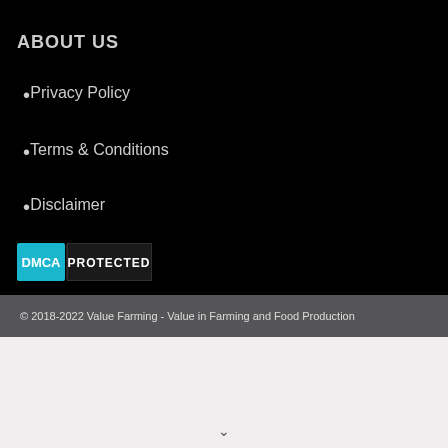ABOUT US
Privacy Policy
Terms & Conditions
Disclaimer
[Figure (logo): DMCA Protected badge — blue box with 'DMCA' text and dark gray box with 'PROTECTED' text]
© 2018-2022 Value Farming  - Value in Farming and Food Production